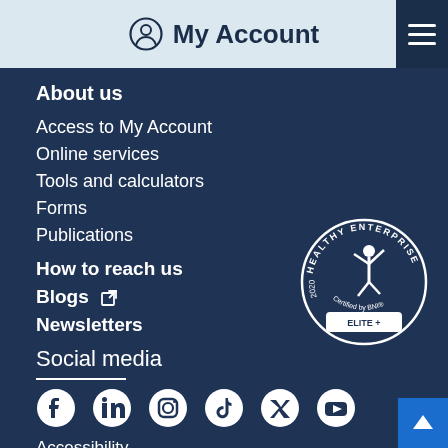My Account
About us
Access to My Account
Online services
Tools and calculators
Forms
Publications
How to reach us
Blogs
Newsletters
[Figure (logo): Healthy Enterprise 2020 Elite+ Certified by BNI badge]
Social media
[Figure (infographic): Social media icons: Facebook, LinkedIn, Instagram, TikTok, Twitter, YouTube]
Accessibility